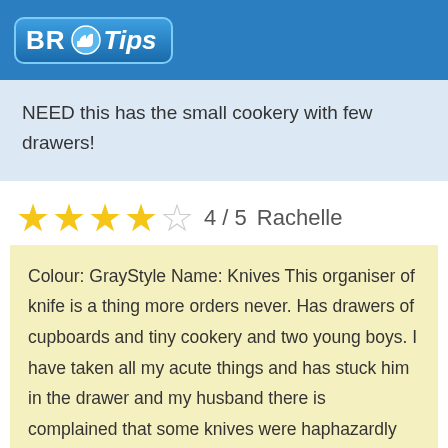[Figure (logo): BR Tips logo with thumbs up icon on blue background]
NEED this has the small cookery with few drawers!
★★★★☆ 4 / 5   Rachelle
Colour: GrayStyle Name: Knives This organiser of knife is a thing more orders never. Has drawers of cupboards and tiny cookery and two young boys. I have taken all my acute things and has stuck him in the drawer and my husband there is complained that some knives were haphazardly stuck in a drawer and he always almost cut he